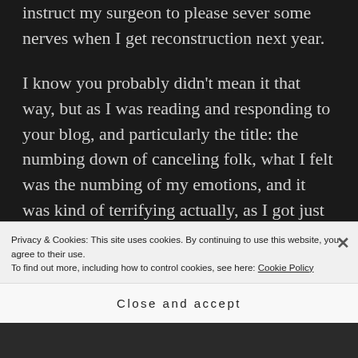instruct my surgeon to please sever some nerves when I get reconstruction next year.
I know you probably didn't mean it that way, but as I was reading and responding to your blog, and particularly the title: the numbing down of canceling folk, what I felt was the numbing of my emotions, and it was kind of terrifying actually, as I got just a fleeting glimpse of the untended wounds I was hiding there.
Privacy & Cookies: This site uses cookies. By continuing to use this website, you agree to their use.
To find out more, including how to control cookies, see here: Cookie Policy
Close and accept